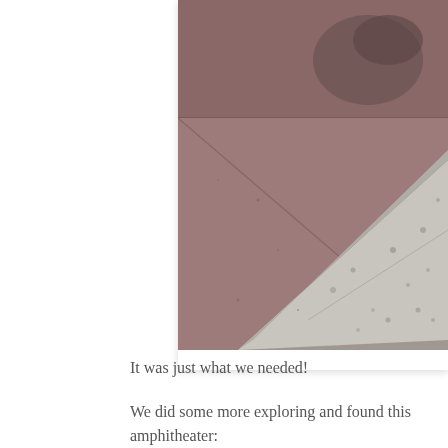[Figure (photo): Close-up photograph of a concrete ramp or curb cut with a textured grey concrete surface showing pockmarks and a diagonal edge, set against reddish-brown brick or paving surface. Water stains visible in upper portion.]
It was just what we needed!
We did some more exploring and found this amphitheater: